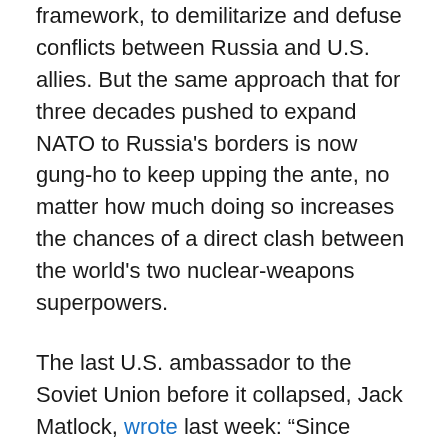framework, to demilitarize and defuse conflicts between Russia and U.S. allies. But the same approach that for three decades pushed to expand NATO to Russia's borders is now gung-ho to keep upping the ante, no matter how much doing so increases the chances of a direct clash between the world's two nuclear-weapons superpowers.
The last U.S. ambassador to the Soviet Union before it collapsed, Jack Matlock, wrote last week: “Since President Putin’s major demand is an assurance that NATO will take no further members, and specifically not Ukraine or Georgia, obviously there would have been no basis for the present crisis if there had been no expansion of the alliance following the end of the Cold War, or if the expansion had occurred in harmony with building a security structure in Europe that included Russia.”